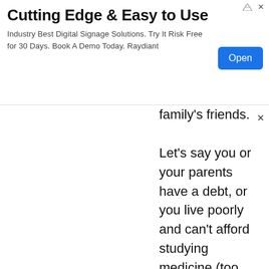[Figure (screenshot): Advertisement banner: 'Cutting Edge & Easy to Use' with subtitle 'Industry Best Digital Signage Solutions. Try It Risk Free for 30 Days. Book A Demo Today. Raydiant' and a blue 'Open' button. Small ad icon and close icon in top right.]
family's friends. Let's say you or your parents have a debt, or you live poorly and can't afford studying medicine (too much time), you will go quick to work in the nearby factory that demands no special expertise,